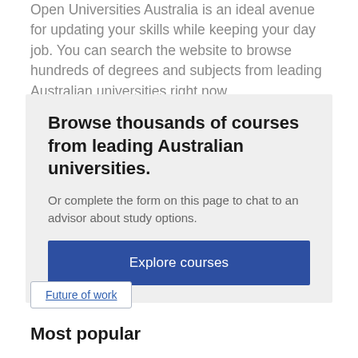Open Universities Australia is an ideal avenue for updating your skills while keeping your day job. You can search the website to browse hundreds of degrees and subjects from leading Australian universities right now.
Browse thousands of courses from leading Australian universities.
Or complete the form on this page to chat to an advisor about study options.
Explore courses
Future of work
Most popular